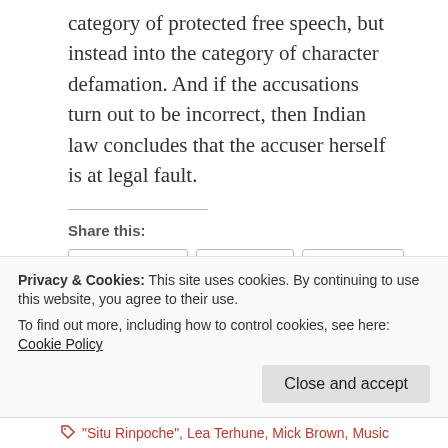category of protected free speech, but instead into the category of character defamation. And if the accusations turn out to be incorrect, then Indian law concludes that the accuser herself is at legal fault.
Share this:
Facebook   Twitter   Google+   Pocket
More
Related posts
Privacy & Cookies: This site uses cookies. By continuing to use this website, you agree to their use. To find out more, including how to control cookies, see here: Cookie Policy
Close and accept
"Situ Rinpoche", Lea Terhune, Mick Brown, Music